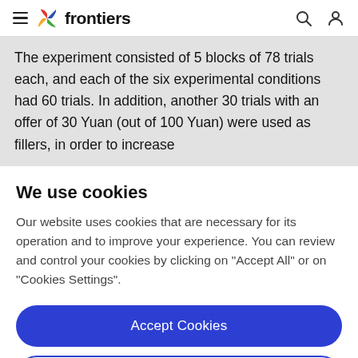frontiers
The experiment consisted of 5 blocks of 78 trials each, and each of the six experimental conditions had 60 trials. In addition, another 30 trials with an offer of 30 Yuan (out of 100 Yuan) were used as fillers, in order to increase
We use cookies
Our website uses cookies that are necessary for its operation and to improve your experience. You can review and control your cookies by clicking on "Accept All" or on "Cookies Settings".
Accept Cookies
Cookies Settings